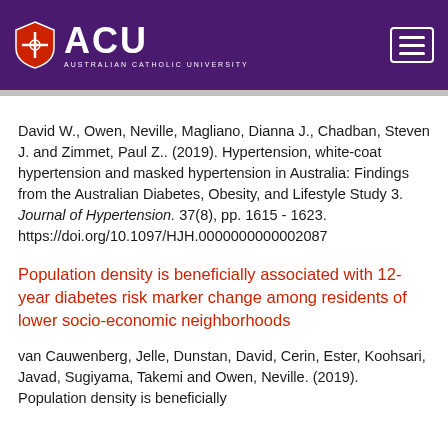[Figure (logo): Australian Catholic University (ACU) logo with shield icon and text on purple header bar]
David W., Owen, Neville, Magliano, Dianna J., Chadban, Steven J. and Zimmet, Paul Z.. (2019). Hypertension, white-coat hypertension and masked hypertension in Australia: Findings from the Australian Diabetes, Obesity, and Lifestyle Study 3. Journal of Hypertension. 37(8), pp. 1615 - 1623. https://doi.org/10.1097/HJH.0000000000002087
Population density is beneficially associated with 12-year diabetes risk marker change among residents of lower socio-economic neighborhoods
van Cauwenberg, Jelle, Dunstan, David, Cerin, Ester, Koohsari, Javad, Sugiyama, Takemi and Owen, Neville. (2019). Population density is beneficially